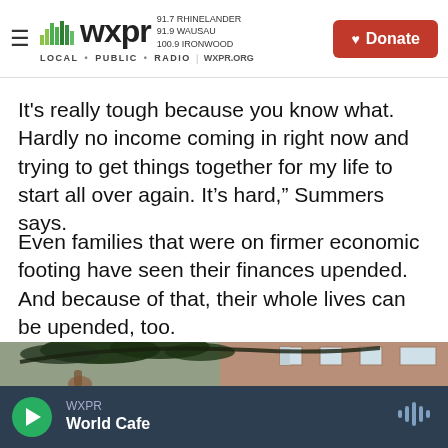WXPR LOCAL PUBLIC RADIO | 91.7 RHINELANDER 91.9 WAUSAU 100.9 IRONWOOD WXPR.ORG | Donate
It's really tough because you know what. Hardly no income coming in right now and trying to get things together for my life to start all over again. It's hard," Summers says.
Even families that were on firmer economic footing have seen their finances upended. And because of that, their whole lives can be upended, too.
[Figure (photo): Outdoor photo showing dark tree branch with leaves silhouetted in foreground, brick apartment building with white-trimmed windows in background, person's raised hand visible at lower left.]
WXPR — World Cafe (audio player bar)